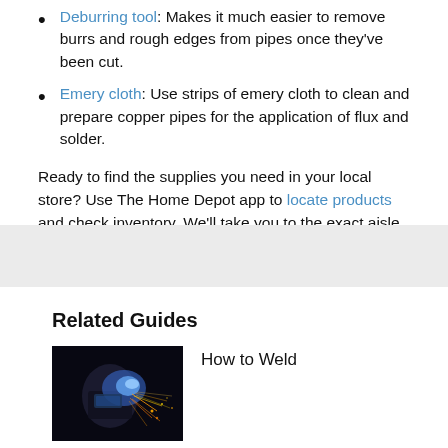Deburring tool: Makes it much easier to remove burrs and rough edges from pipes once they've been cut.
Emery cloth: Use strips of emery cloth to clean and prepare copper pipes for the application of flux and solder.
Ready to find the supplies you need in your local store? Use The Home Depot app to locate products and check inventory. We'll take you to the exact aisle and bay.
Related Guides
[Figure (photo): A welder working with bright blue and orange sparks flying]
How to Weld